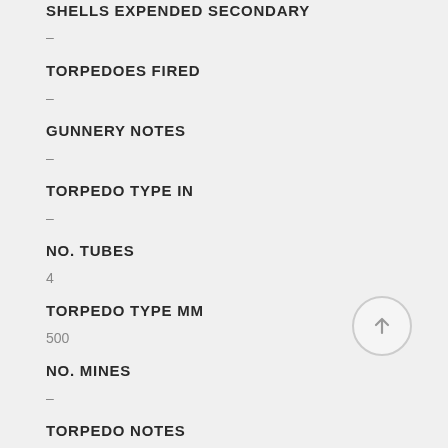SHELLS EXPENDED SECONDARY
–
TORPEDOES FIRED
–
GUNNERY NOTES
–
TORPEDO TYPE IN
–
NO. TUBES
4
TORPEDO TYPE MM
500
NO. MINES
–
TORPEDO NOTES